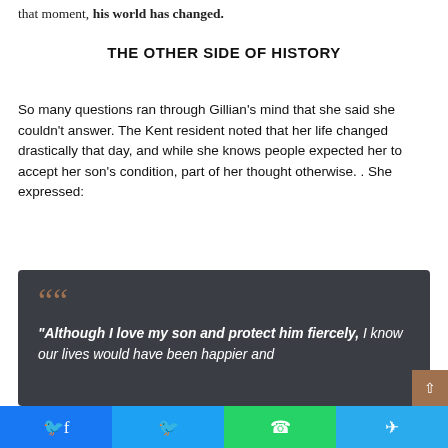that moment, his world has changed.
THE OTHER SIDE OF HISTORY
So many questions ran through Gillian's mind that she said she couldn't answer. The Kent resident noted that her life changed drastically that day, and while she knows people expected her to accept her son's condition, part of her thought otherwise. . She expressed:
“Although I love my son and protect him fiercely, I know our lives would have been happier and...